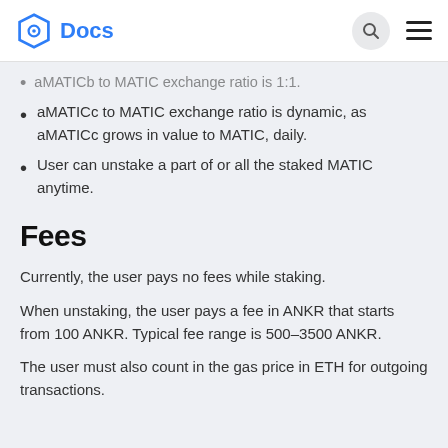Docs
aMATICb to MATIC exchange ratio is 1:1.
aMATICc to MATIC exchange ratio is dynamic, as aMATICc grows in value to MATIC, daily.
User can unstake a part of or all the staked MATIC anytime.
Fees
Currently, the user pays no fees while staking.
When unstaking, the user pays a fee in ANKR that starts from 100 ANKR. Typical fee range is 500–3500 ANKR.
The user must also count in the gas price in ETH for outgoing transactions.